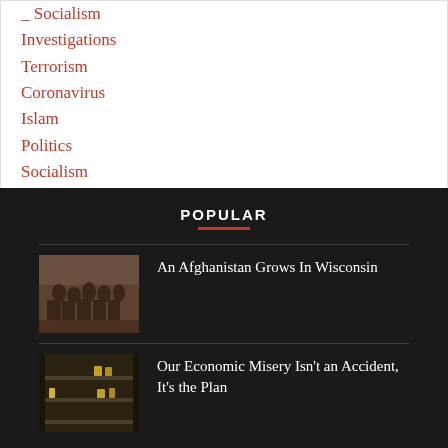_ Socialism
Investigations
Terrorism
Coronavirus
Islam
Politics
Socialism
Subscribe
Donate
POPULAR
An Afghanistan Grows In Wisconsin
[Figure (photo): Sepia-toned photo of soldiers in a group]
Our Economic Misery Isn't an Accident, It's the Plan
[Figure (photo): Dark photo of store shelves with sparse items]